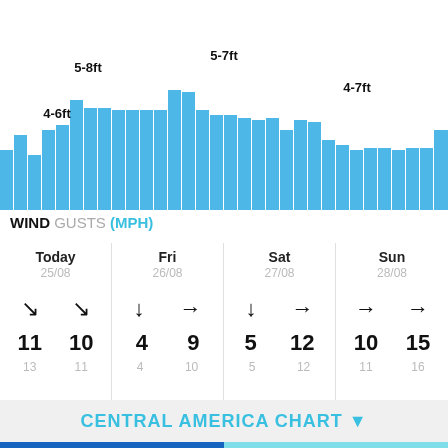[Figure (bar-chart): Wave Height]
WIND GUSTS (MPH)
| Today 25/08 | Fri 26/08 | Sat 27/08 | Sun 28/08 |
| --- | --- | --- | --- |
| ↘ ↘ | ↓ → | ↓ → | → → |
| 11  10 | 4  9 | 5  12 | 10  15 |
| 13  11 | 4  10 | 5  12 | 11  16 |
CENTRAL AMERICA CHART ▾
[Figure (map): Central America map strip showing wave/wind chart for the region]